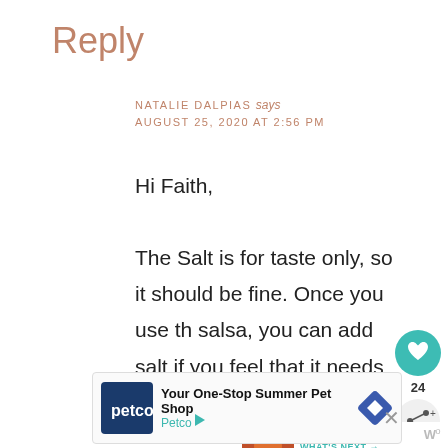Reply
NATALIE DALPIAS says
AUGUST 25, 2020 AT 2:56 PM
Hi Faith,

The Salt is for taste only, so it should be fine. Once you use the salsa, you can add salt if you feel that it needs it.
[Figure (infographic): Heart/like button (teal circle with heart icon) with count 24, and share button below]
[Figure (infographic): What's Next widget with thumbnail image and text 'Salsa Recipe for Canning']
[Figure (infographic): Petco advertisement banner: Your One-Stop Summer Pet Shop - Petco, with logo and diamond icon]